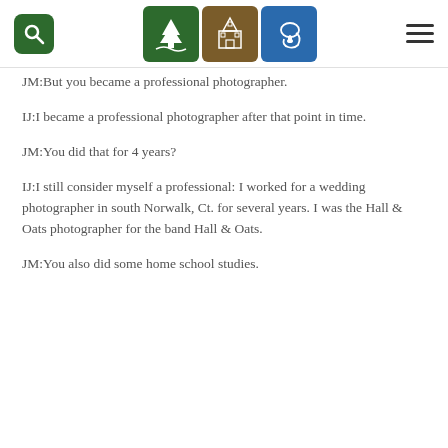[Navigation header with search icon, three nav icons (green/brown/blue), and hamburger menu]
JM:But you became a professional photographer.
IJ:I became a professional photographer after that point in time.
JM:You did that for 4 years?
IJ:I still consider myself a professional: I worked for a wedding photographer in south Norwalk, Ct. for several years. I was the Hall & Oats photographer for the band Hall & Oats.
JM:You also did some home school studies.